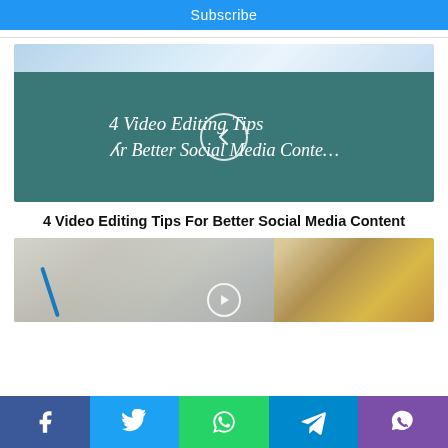Subscribe
[Figure (screenshot): Thumbnail image for '4 Video Editing Tips For Better Social Media Content' with teal/green background and white italic script text, overlaid with a circular back-arrow navigation button]
4 Video Editing Tips For Better Social Media Content
[Figure (photo): Partial photo of a person holding a blue pen/stylus, writing or drawing, with warm golden background tones]
Social share buttons: Facebook, Twitter, WhatsApp, Telegram, Viber